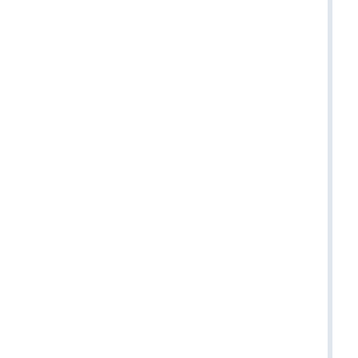Manuscripts should be submitted before the deadline. All papers will be published in the journal (as soon as accepted). We welcome articles, case reports or other. Please include abstract (about 100 words) and keywords. Submitted manuscripts should not be under publication elsewhere (etc.). All papers are refereed through a double-blind process. For information for submission, since January 2021, Signa Viate is an international open access journal. Since January 2021, Signa Viate Authors page before submitting. Publishing in this open access journal is free for contributors invited by the Guest Editors. Submitted papers should...
Share This Special